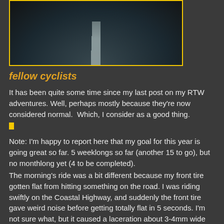[Figure (photo): Dark road/highway photo taken from above, showing asphalt with a center line, surrounded by dark vegetation on the sides]
fellow cyclists
It has been quite some time since my last post on my RTW adventures. Well, perhaps mostly because they're now considered normal.  Which, I consider as a good thing.
Note: I'm happy to report here that my goal for this year is going great so far. 5 weeklongs so far (another 15 to go), but no monthlong yet (4 to be completed).
The morning's ride was a bit different because my front tire gotten flat from hitting something on the road. I was riding swiftly on the Coastal Highway, and suddenly the front tire gave weird noise before getting totally flat in 5 seconds. I'm not sure what, but it caused a laceration about 3-4mm wide on the tire which went through to the inner tube.